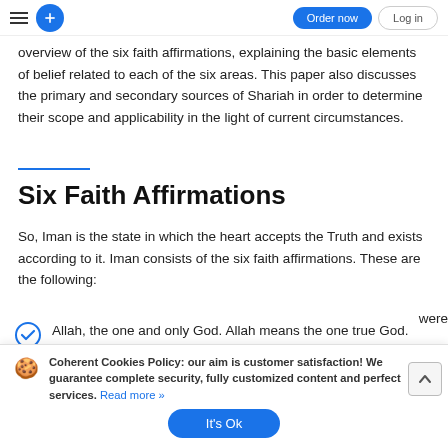Order now | Log in
overview of the six faith affirmations, explaining the basic elements of belief related to each of the six areas. This paper also discusses the primary and secondary sources of Shariah in order to determine their scope and applicability in the light of current circumstances.
Six Faith Affirmations
So, Iman is the state in which the heart accepts the Truth and exists according to it. Iman consists of the six faith affirmations. These are the following:
Allah, the one and only God. Allah means the one true God.
Coherent Cookies Policy: our aim is customer satisfaction! We guarantee complete security, fully customized content and perfect services. Read more »
It's Ok